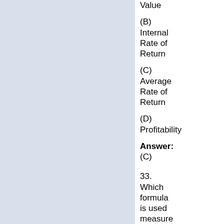Value
(B) Internal Rate of Return
(C) Average Rate of Return
(D) Profitability
Answer: (C)
33. Which formula is used measure the degree of